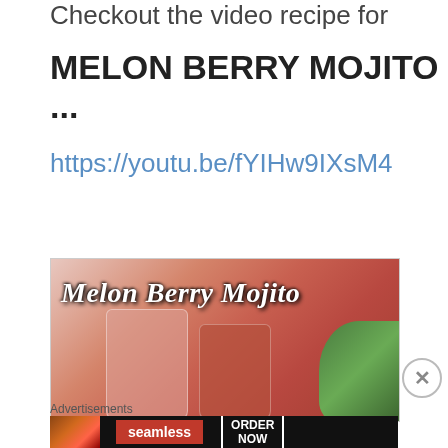Checkout the video recipe for
MELON BERRY MOJITO ...
https://youtu.be/fYIHw9IXsM4
[Figure (photo): Photo of two glasses of Melon Berry Mojito drinks with mint garnish and a watermelon slice, with text overlay 'Melon Berry Mojito' in bold italic white font with black outline.]
Advertisements
[Figure (screenshot): Seamless food delivery advertisement banner showing pizza image on left, Seamless red logo in center, and ORDER NOW button on right, on black background.]